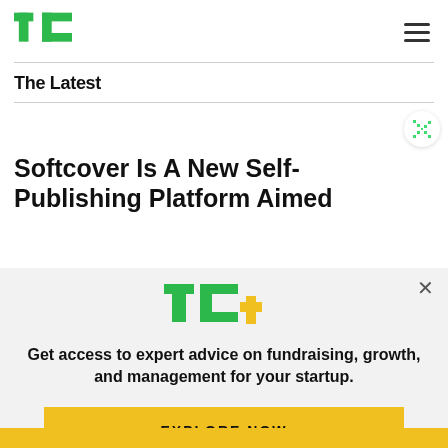TechCrunch
The Latest
Softcover Is A New Self-Publishing Platform Aimed
[Figure (logo): TechCrunch TC+ logo with green TC letters and yellow plus sign]
Get access to expert advice on fundraising, growth, and management for your startup.
EXPLORE NOW